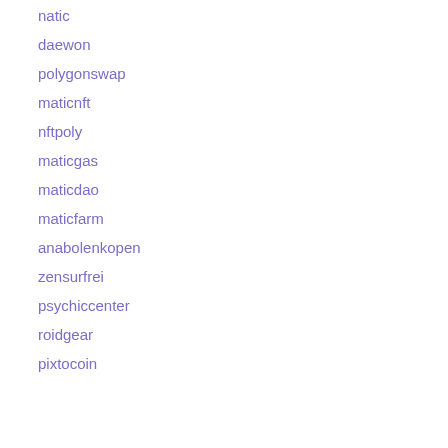natic
daewon
polygonswap
maticnft
nftpoly
maticgas
maticdao
maticfarm
anabolenkopen
zensurfrei
psychiccenter
roidgear
pixtocoin